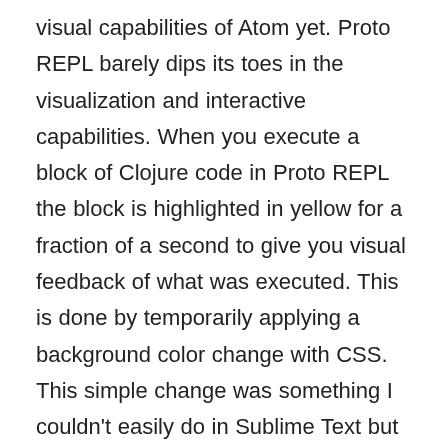visual capabilities of Atom yet. Proto REPL barely dips its toes in the visualization and interactive capabilities. When you execute a block of Clojure code in Proto REPL the block is highlighted in yellow for a fraction of a second to give you visual feedback of what was executed. This is done by temporarily applying a background color change with CSS. This simple change was something I couldn't easily do in Sublime Text but was trivial to do in Atom.
I'm planning to start experimenting with capturing output from the REPL and displaying the results visually in ATOM. I'm hoping that a future version of Proto REPL can offer something a bit more